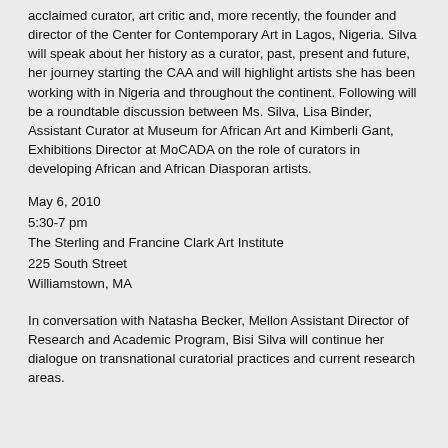acclaimed curator, art critic and, more recently, the founder and director of the Center for Contemporary Art in Lagos, Nigeria. Silva will speak about her history as a curator, past, present and future, her journey starting the CAA and will highlight artists she has been working with in Nigeria and throughout the continent. Following will be a roundtable discussion between Ms. Silva, Lisa Binder, Assistant Curator at Museum for African Art and Kimberli Gant, Exhibitions Director at MoCADA on the role of curators in developing African and African Diasporan artists.
May 6, 2010
5:30-7 pm
The Sterling and Francine Clark Art Institute
225 South Street
Williamstown, MA
In conversation with Natasha Becker, Mellon Assistant Director of Research and Academic Program, Bisi Silva will continue her dialogue on transnational curatorial practices and current research areas.